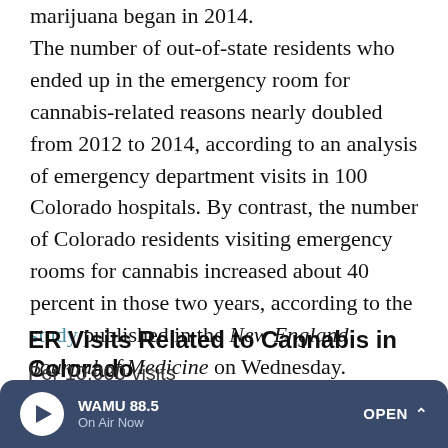marijuana began in 2014.
The number of out-of-state residents who ended up in the emergency room for cannabis-related reasons nearly doubled from 2012 to 2014, according to an analysis of emergency department visits in 100 Colorado hospitals. By contrast, the number of Colorado residents visiting emergency rooms for cannabis increased about 40 percent in those two years, according to the study published in the New England Journal of Medicine on Wednesday.
ER Visits Related to Cannabis in Colorado
Per 10,000 visits
[Figure (other): Legend showing two colored boxes: teal square labeled Out-of-State, yellow square labeled Colorado Residents]
[Figure (other): WAMU 88.5 radio player bar at bottom, On Air Now, with play button and OPEN button]